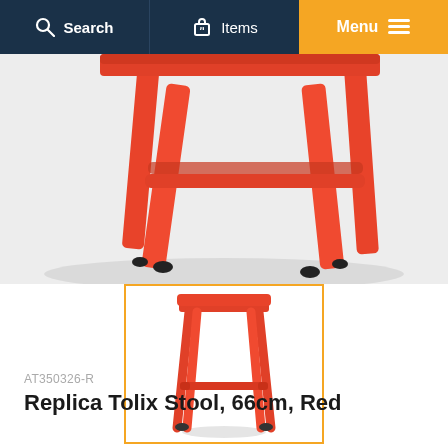Search | 0 Items | Menu
[Figure (photo): Large cropped view of a red metal Tolix-style stool showing legs and lower frame on a light grey background]
[Figure (photo): Thumbnail image of the full red Replica Tolix Stool 66cm with orange border indicating selected color variant]
AT350326-R
Replica Tolix Stool, 66cm, Red